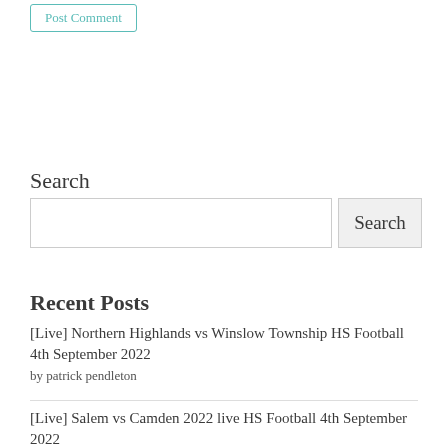Post Comment
Search
Recent Posts
[Live] Northern Highlands vs Winslow Township HS Football 4th September 2022
by patrick pendleton
[Live] Salem vs Camden 2022 live HS Football 4th September 2022